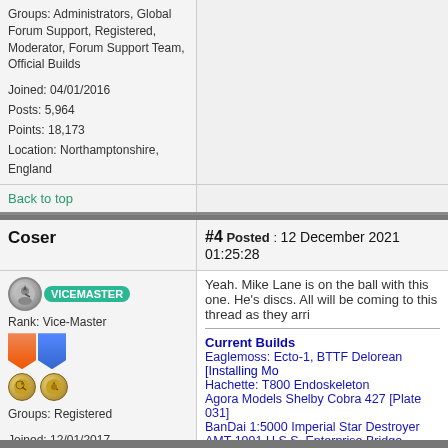Groups: Administrators, Global Forum Support, Registered, Moderator, Forum Support Team, Official Builds
Joined: 04/01/2016
Posts: 5,964
Points: 18,173
Location: Northamptonshire, England
Back to top
Coser
#4 Posted : 12 December 2021 01:25:28
[Figure (illustration): Vice-Master rank badge with avatar icon, orange and blue pentagon medals, gold coins]
Rank: Vice-Master
Groups: Registered
Joined: 12/01/2017
Posts: 570
Points: 1,725
Location: Cambridgeshire
Yeah. Mike Lane is on the ball with this one. He's discs. All will be coming to this thread as they arri
Current Builds
Eaglemoss: Ecto-1, BTTF Delorean [Installing Mo
Hachette: T800 Endoskeleton
Agora Models Shelby Cobra 427 [Plate 031]
BanDai 1:5000 Imperial Star Destroyer
AMT 1991 U.S.S. Enterprise Bridge [Installing Mo
Finished Builds
Deagostini: R2-D2 [Never getting batteries]
Back to top